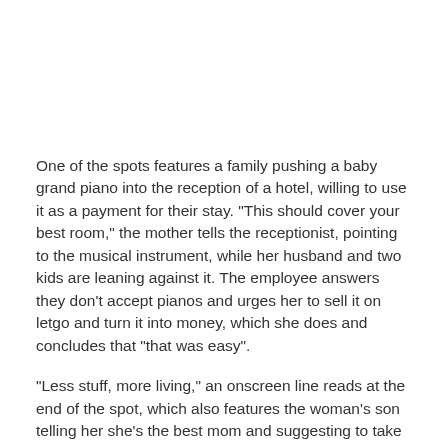One of the spots features a family pushing a baby grand piano into the reception of a hotel, willing to use it as a payment for their stay. "This should cover your best room," the mother tells the receptionist, pointing to the musical instrument, while her husband and two kids are leaning against it. The employee answers they don't accept pianos and urges her to sell it on letgo and turn it into money, which she does and concludes that "that was easy".
"Less stuff, more living," an onscreen line reads at the end of the spot, which also features the woman's son telling her she's the best mom and suggesting to take a pool. "Live and letgo," the voiceover finally adds.
Launched in January 2015 by Alec Oxenford, former CEO of OLX, letgo raised, in the same year, US$100 million and was later labeled as "the biggest and fastest growing app to buy and sell locally". While it initially targeted the US market, the app launched